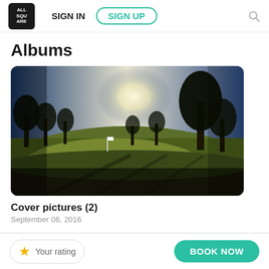SIGN IN  SIGN UP
Albums
[Figure (photo): Golf course landscape photo showing a fairway green with trees silhouetted against a bright sky at dusk or dawn, long shadows on the grass]
Cover pictures (2)
September 06, 2016
Your rating
BOOK NOW